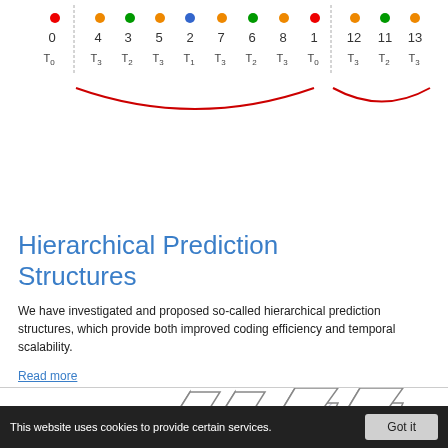[Figure (schematic): Hierarchical prediction structure diagram showing colored dots above numbers 0,4,3,5,2,7,6,8,1,12,11,13 with T0,T3,T2,T3,T1,T3,T2,T3,T0,T3,T2,T3 labels, and red arc curves underneath indicating groupings. Dashed vertical lines separate groups.]
Hierarchical Prediction Structures
We have investigated and proposed so-called hierarchical prediction structures, which provide both improved coding efficiency and temporal scalability.
Read more
[Figure (schematic): Diagram showing multiple overlapping rectangular frame planes with a blue arrow labeled delta=1 pointing rightward, illustrating motion/prediction across frames.]
This website uses cookies to provide certain services.